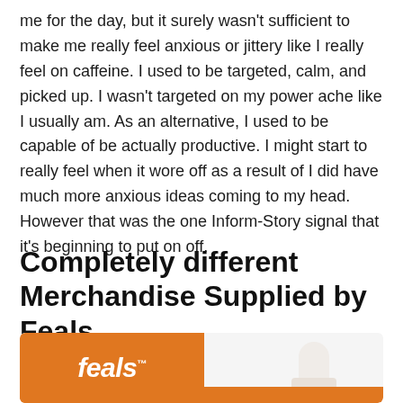me for the day, but it surely wasn't sufficient to make me really feel anxious or jittery like I really feel on caffeine. I used to be targeted, calm, and picked up. I wasn't targeted on my power ache like I usually am. As an alternative, I used to be capable of be actually productive. I might start to really feel when it wore off as a result of I did have much more anxious ideas coming to my head. However that was the one Inform-Story signal that it's beginning to put on off.
Completely different Merchandise Supplied by Feals
[Figure (photo): Photo of a Feals branded product — an orange and white packaging/tube with the Feals logo on an orange background]